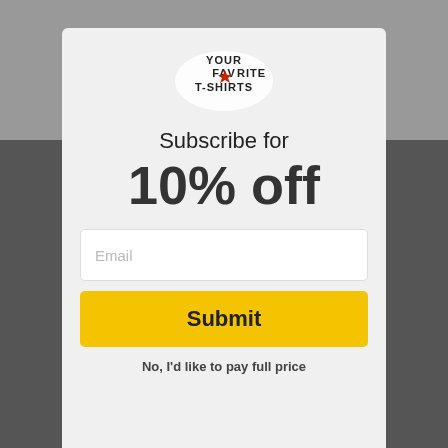[Figure (logo): Your Favorite T-Shirts logo with stylized text and red star]
Subscribe for
10% off
Email (input field placeholder)
Submit
No, I'd like to pay full price